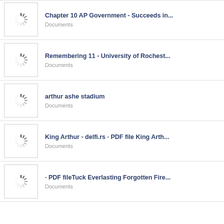Chapter 10 AP Government - Succeeds in...
Documents
Remembering 11 - University of Rochest...
Documents
arthur ashe stadium
Documents
King Arthur - delfi.rs · PDF file King Arth...
Documents
· PDF fileTuck Everlasting Forgotten Fire...
Documents